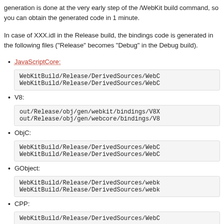generation is done at the very early step of the /WebKit build command, so you can obtain the generated code in 1 minute.
In case of XXX.idl in the Release build, the bindings code is generated in the following files ("Release" becomes "Debug" in the Debug build).
JavaScriptCore:
WebKitBuild/Release/DerivedSources/WebC
WebKitBuild/Release/DerivedSources/WebC
V8:
out/Release/obj/gen/webkit/bindings/V8X
out/Release/obj/gen/webcore/bindings/V8
ObjC:
WebKitBuild/Release/DerivedSources/WebC
WebKitBuild/Release/DerivedSources/WebC
GObject:
WebKitBuild/Release/DerivedSources/webk
WebKitBuild/Release/DerivedSources/webk
CPP:
WebKitBuild/Release/DerivedSources/WebC